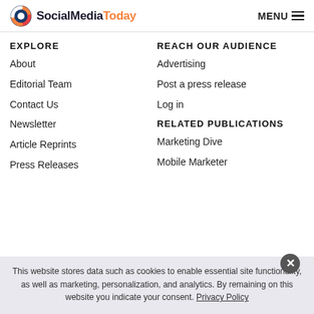SocialMediaToday MENU
EXPLORE
About
Editorial Team
Contact Us
Newsletter
Article Reprints
Press Releases
REACH OUR AUDIENCE
Advertising
Post a press release
Log in
RELATED PUBLICATIONS
Marketing Dive
Mobile Marketer
This website stores data such as cookies to enable essential site functionality, as well as marketing, personalization, and analytics. By remaining on this website you indicate your consent. Privacy Policy